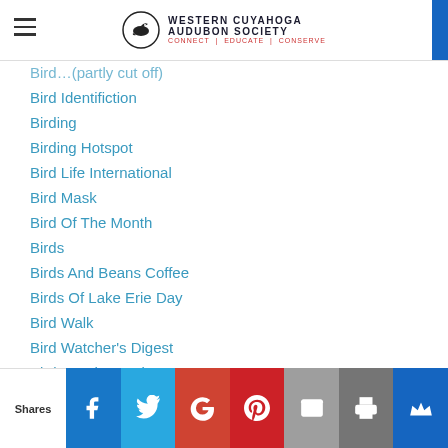Western Cuyahoga Audubon Society
Bird Identifiction
Birding
Birding Hotspot
Bird Life International
Bird Mask
Bird Of The Month
Birds
Birds And Beans Coffee
Birds Of Lake Erie Day
Bird Walk
Bird Watcher's Digest
Bird Watcher’s Digest
Black Bear
Blackbrook Audubon Society
Black River Audubon (partially visible)